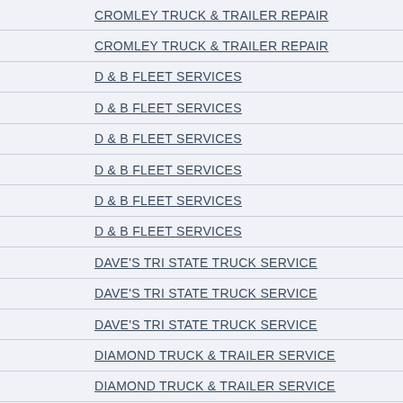CROMLEY TRUCK & TRAILER REPAIR
CROMLEY TRUCK & TRAILER REPAIR
D & B FLEET SERVICES
D & B FLEET SERVICES
D & B FLEET SERVICES
D & B FLEET SERVICES
D & B FLEET SERVICES
D & B FLEET SERVICES
DAVE'S TRI STATE TRUCK SERVICE
DAVE'S TRI STATE TRUCK SERVICE
DAVE'S TRI STATE TRUCK SERVICE
DIAMOND TRUCK & TRAILER SERVICE
DIAMOND TRUCK & TRAILER SERVICE